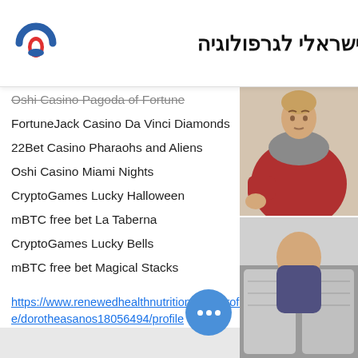המרכז הישראלי לגרפולוגיה
Oshi Casino Pagoda of Fortune
FortuneJack Casino Da Vinci Diamonds
22Bet Casino Pharaohs and Aliens
Oshi Casino Miami Nights
CryptoGames Lucky Halloween
mBTC free bet La Taberna
CryptoGames Lucky Bells
mBTC free bet Magical Stacks
https://www.renewedhealthnutrition.com/profile/dorotheasanos18056494/profile
https://www.theofficialwifetribe.com/profile/rowenanickelson12938552/profile
https://www.zerogravityoce.com/profile/emersonvinson9289406/profile
https://www.masterpiecebiblicalcounseling.com/profile/jeffolah7869081/profile
[Figure (photo): Man with reddish sweater and gray scarf looking thoughtful, upper right of page]
[Figure (photo): Person sitting on couch with gray/white patterned cushion, lower right of page]